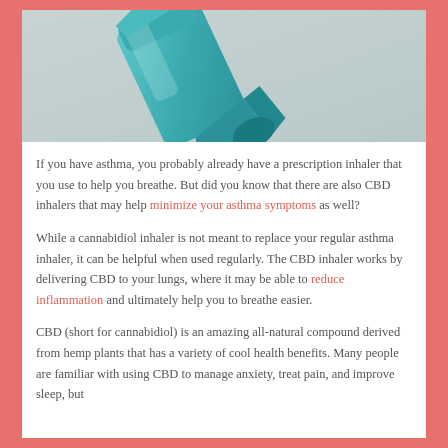[Figure (photo): A teal/turquoise prescription inhaler photographed on a light gray background, viewed from an angle showing the mouthpiece end.]
If you have asthma, you probably already have a prescription inhaler that you use to help you breathe. But did you know that there are also CBD inhalers that may help minimize your asthma symptoms as well?
While a cannabidiol inhaler is not meant to replace your regular asthma inhaler, it can be helpful when used regularly. The CBD inhaler works by delivering CBD to your lungs, where it may be able to reduce inflammation and ultimately help you to breathe easier.
CBD (short for cannabidiol) is an amazing all-natural compound derived from hemp plants that has a variety of cool health benefits. Many people are familiar with using CBD to manage anxiety, treat pain, and improve sleep, but